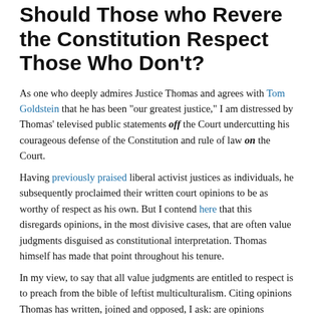Should Those who Revere the Constitution Respect Those Who Don't?
As one who deeply admires Justice Thomas and agrees with Tom Goldstein that he has been "our greatest justice," I am distressed by Thomas' televised public statements off the Court undercutting his courageous defense of the Constitution and rule of law on the Court.
Having previously praised liberal activist justices as individuals, he subsequently proclaimed their written court opinions to be as worthy of respect as his own. But I contend here that this disregards opinions, in the most divisive cases, that are often value judgments disguised as constitutional interpretation. Thomas himself has made that point throughout his tenure.
In my view, to say that all value judgments are entitled to respect is to preach from the bible of leftist multiculturalism. Citing opinions Thomas has written, joined and opposed, I ask: are opinions entitled to respect when Thomas states that they (1) dissemble; (2) are lawless and illegitimate; (3) engage in arrogant usurpation of power, limited only by justices' sense of what they "can get away with"; (4) are based on the belief by justices that blacks are inferior to whites; (5) use the same rationalizations earlier employed by slaveholders and segregationists; (6) sentence the most vulnerable law-abiding citizens to lives of terror in order to protect gang members who inflict that terror, etc., etc.?